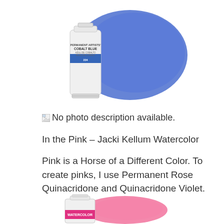[Figure (photo): Watercolor paint tube labeled 'Permanent Artists' Cobalt Blue 234' with a large cobalt blue painted swatch behind it]
[Figure (photo): Broken/unavailable image icon placeholder]
No photo description available.
In the Pink – Jacki Kellum Watercolor
Pink is a Horse of a Different Color. To create pinks, I use Permanent Rose Quinacridone and Quinacridone Violet.
[Figure (photo): Pink watercolor paint container labeled 'WATERCOLOR' with a vivid pink painted swatch]